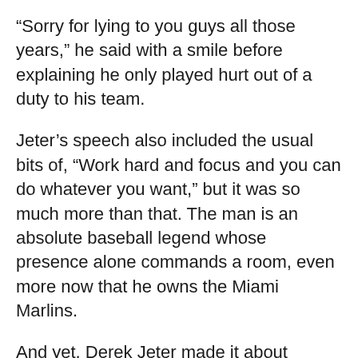“Sorry for lying to you guys all those years,” he said with a smile before explaining he only played hurt out of a duty to his team.
Jeter’s speech also included the usual bits of, “Work hard and focus and you can do whatever you want,” but it was so much more than that. The man is an absolute baseball legend whose presence alone commands a room, even more now that he owns the Miami Marlins.
And yet, Derek Jeter made it about everyone but himself.
Congratulations, Captain. Today belongs to you.